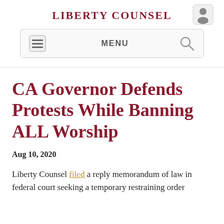LIBERTY COUNSEL
[Figure (screenshot): Navigation bar with hamburger menu icon, MENU label, and search icon]
CA Governor Defends Protests While Banning ALL Worship
Aug 10, 2020
Liberty Counsel filed a reply memorandum of law in federal court seeking a temporary restraining order